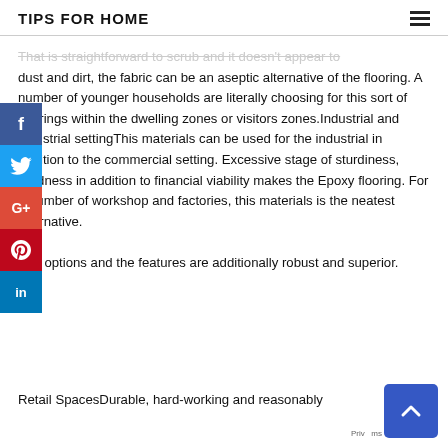TIPS FOR HOME
That is straightforward to scrub and it doesn't appear to dust and dirt, the fabric can be an aseptic alternative of the flooring. A number of younger households are literally choosing for this sort of floorings within the dwelling zones or visitors zones.Industrial and industrial settingThis materials can be used for the industrial in addition to the commercial setting. Excessive stage of sturdiness, hardness in addition to financial viability makes the Epoxy flooring. For a number of workshop and factories, this materials is the neatest alternative. The options and the features are additionally robust and superior.
Retail SpacesDurable, hard-working and reasonably